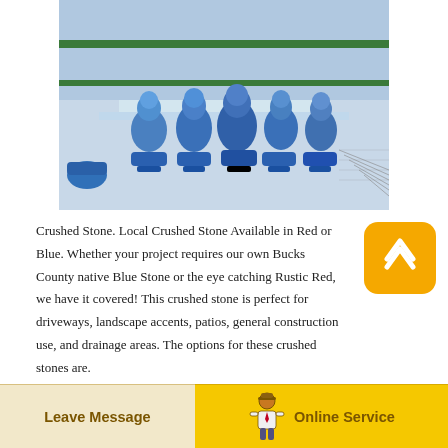[Figure (photo): Factory workers in blue uniforms and caps seated at a long assembly line workstation, working with small components. Industrial setting with green metal framework overhead.]
Crushed Stone. Local Crushed Stone Available in Red or Blue. Whether your project requires our own Bucks County native Blue Stone or the eye catching Rustic Red, we have it covered! This crushed stone is perfect for driveways, landscape accents, patios, general construction use, and drainage areas. The options for these crushed stones are.
Best 30 Stone Quarries In Bucks County In Coopersburg Pa
Crushed Stone Jdm Inc. Headquartered in Bucks County PA Eureka Stone Quarry Inc. owns and operates eight hard rock quarries throughout
Leave Message   Online Service